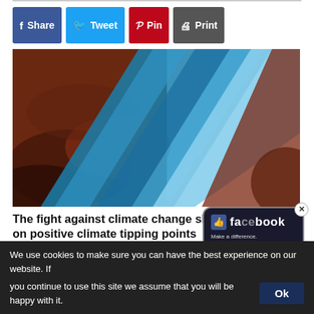[Figure (other): Social share bar with Facebook (Share), Twitter (Tweet), Pinterest (Pin), and Print buttons]
[Figure (photo): Composite dramatic sky image: stormy red-orange clouds on the left and right, blue sky and streaked blue bands in the center, creating a diagonal split composition]
The fight against climate change should focus on positive climate tipping points
At some point, economic forces snowball so that fossil fuels become too expensive to burn, or electric cars become...
We use cookies to make sure you can have the best experience on our website. If you continue to use this site we assume that you will be happy with it. Ok